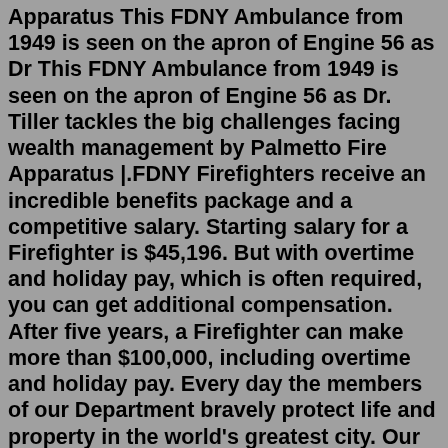Apparatus This FDNY Ambulance from 1949 is seen on the apron of Engine 56 as Dr This FDNY Ambulance from 1949 is seen on the apron of Engine 56 as Dr. Tiller tackles the big challenges facing wealth management by Palmetto Fire Apparatus |.FDNY Firefighters receive an incredible benefits package and a competitive salary. Starting salary for a Firefighter is $45,196. But with overtime and holiday pay, which is often required, you can get additional compensation. After five years, a Firefighter can make more than $100,000, including overtime and holiday pay. Every day the members of our Department bravely protect life and property in the world's greatest city. Our Department not only responds to emergencies, we help prevent them by getting out into the community and promoting our many educational programs. Laura Kavanagh. Acting Fire Commissioner. Learn More about the Fire Commissioner.If you were at this fire contact John Maher E 218, Jm6391@aol.com and we will compile